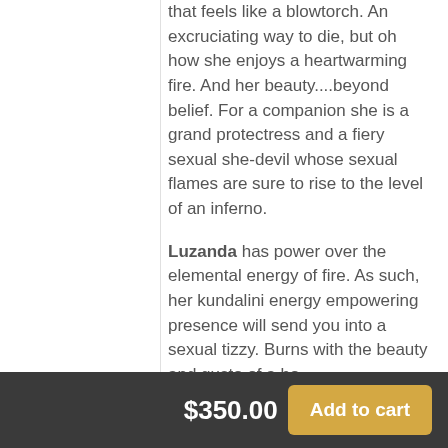that feels like a blowtorch. An excruciating way to die, but oh how she enjoys a heartwarming fire. And her beauty....beyond belief. For a companion she is a grand protectress and a fiery sexual she-devil whose sexual flames are sure to rise to the level of an inferno.
Luzanda has power over the elemental energy of fire. As such, her kundalini energy empowering presence will send you into a sexual tizzy. Burns with the beauty and gusto of a bo... energy like a drago...
$350.00
Add to cart